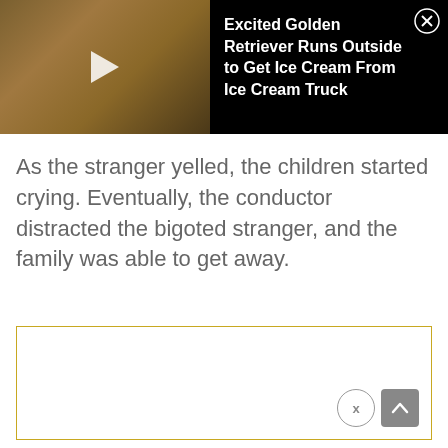[Figure (screenshot): Video thumbnail showing a golden retriever being fed something, with a play button overlay, next to a black panel with the video title 'Excited Golden Retriever Runs Outside to Get Ice Cream From Ice Cream Truck' and a close (X) button]
As the stranger yelled, the children started crying. Eventually, the conductor distracted the bigoted stranger, and the family was able to get away.
[Figure (other): Advertisement box with a yellow/gold border, mostly blank white content area, with an X close button and a scroll-to-top arrow button in the bottom-right corner]